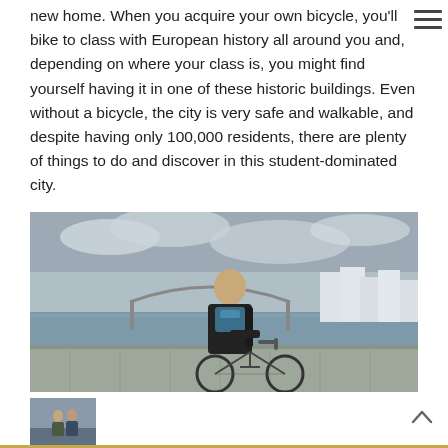new home. When you acquire your own bicycle, you'll bike to class with European history all around you and, depending on where your class is, you might find yourself having it in one of these historic buildings. Even without a bicycle, the city is very safe and walkable, and despite having only 100,000 residents, there are plenty of things to do and discover in this student-dominated city.
[Figure (photo): A young man standing with a bicycle on a bridge over a river in a European city. He is wearing a dark jacket and colorful scarf, smiling at the camera. Buildings and a bridge are visible in the background.]
[Figure (photo): Thumbnail image showing two people with bicycles in a European city setting.]